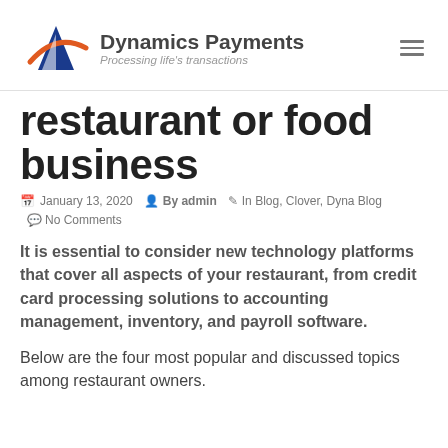[Figure (logo): Dynamics Payments logo with blue and orange mountain/triangle graphic and company name]
restaurant or food business
January 13, 2020  By admin  In Blog, Clover, Dyna Blog  No Comments
It is essential to consider new technology platforms that cover all aspects of your restaurant, from credit card processing solutions to accounting management, inventory, and payroll software.
Below are the four most popular and discussed topics among restaurant owners.